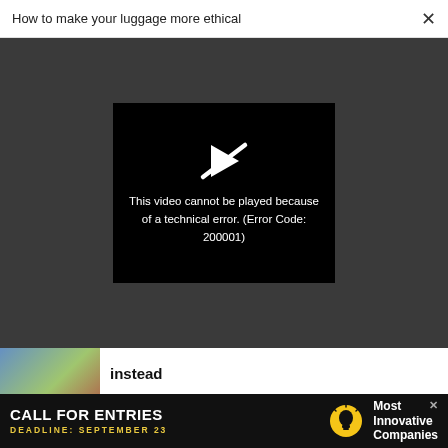How to make your luggage more ethical ×
[Figure (screenshot): Video player showing error message on dark background. Error box reads: 'This video cannot be played because of a technical error. (Error Code: 200001)']
instead
TECHNOLOGY
How meme king Litquidity is making bank by skewering Wall Street
[Figure (photo): Advertisement banner: CALL FOR ENTRIES / DEADLINE: SEPTEMBER 23 / Most Innovative Companies]